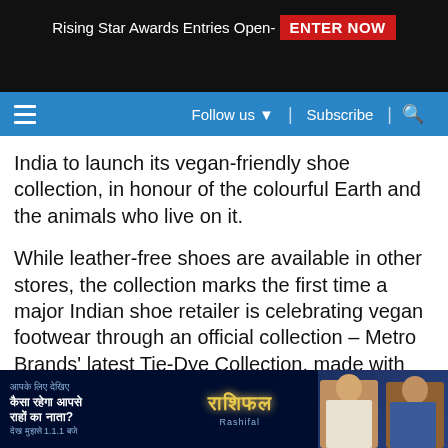Rising Star Awards Entries Open- ENTER NOW
Follow us ▼ | Subscribe | 🔍
India to launch its vegan-friendly shoe collection, in honour of the colourful Earth and the animals who live on it.
While leather-free shoes are available in other stores, the collection marks the first time a major Indian shoe retailer is celebrating vegan footwear through an official collection – Metro Brands' latest Tie-Dye Collection, made with modern, comfortable, and animal-free materia…
[Figure (screenshot): Advertisement banner with Hindi text 'कैसा रहेगा आपसे राशों का नाता?' and Rashifal logo with two TV personalities]